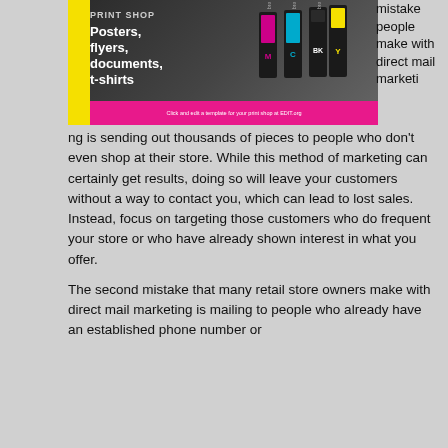[Figure (photo): Print shop advertisement image showing ink cartridges (CMYK - cyan, magenta, yellow, black) lined up, with yellow sidebar on the left and text overlay reading 'Posters, flyers, documents, t-shirts' on a dark background, with a pink bar at the bottom reading 'Click and edit a template for your print shop at EDIT.org']
mistake people make with direct mail marketing is sending out thousands of pieces to people who don't even shop at their store. While this method of marketing can certainly get results, doing so will leave your customers without a way to contact you, which can lead to lost sales. Instead, focus on targeting those customers who do frequent your store or who have already shown interest in what you offer.
The second mistake that many retail store owners make with direct mail marketing is mailing to people who already have an established phone number or